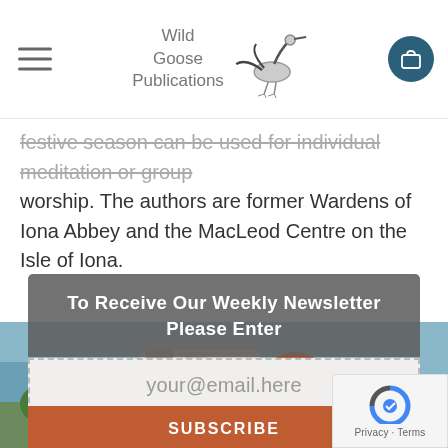Wild Goose Publications
festive season can be used for individual meditation or group worship. The authors are former Wardens of Iona Abbey and the MacLeod Centre on the Isle of Iona.
[Figure (photo): Outdoor scene with a coastal building, brick wall, and green plants under blue sky]
To Receive Our Weekly Newsletter Please Enter
your@email.here
SUBSCRIBE